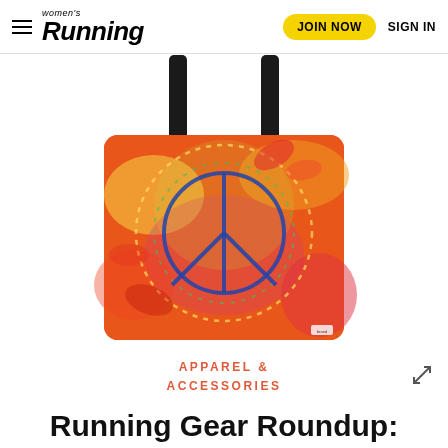Women's Running — JOIN NOW   SIGN IN
[Figure (photo): A colorful tote bag with a peace sign on a floral red/orange background, with black straps]
APPAREL & ACCESSORIES
Running Gear Roundup: